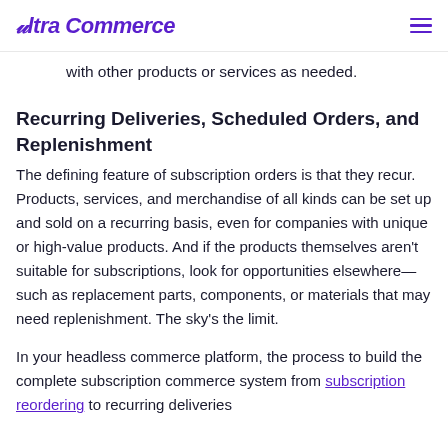Ultra Commerce
with other products or services as needed.
Recurring Deliveries, Scheduled Orders, and Replenishment
The defining feature of subscription orders is that they recur. Products, services, and merchandise of all kinds can be set up and sold on a recurring basis, even for companies with unique or high-value products. And if the products themselves aren't suitable for subscriptions, look for opportunities elsewhere— such as replacement parts, components, or materials that may need replenishment. The sky's the limit.
In your headless commerce platform, the process to build the complete subscription commerce system from subscription reordering to recurring deliveries